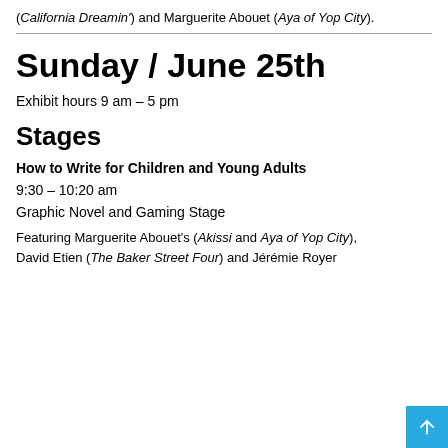(California Dreamin') and Marguerite Abouet (Aya of Yop City).
Sunday / June 25th
Exhibit hours 9 am – 5 pm
Stages
How to Write for Children and Young Adults
9:30 – 10:20 am
Graphic Novel and Gaming Stage
Featuring Marguerite Abouet's (Akissi and Aya of Yop City), David Etien (The Baker Street Four) and Jérémie Royer